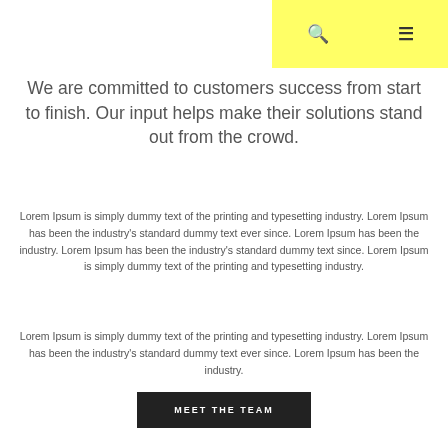[Figure (other): Navigation header with yellow background box containing search icon and hamburger menu icon, with a vertical divider line]
We are committed to customers success from start to finish. Our input helps make their solutions stand out from the crowd.
Lorem Ipsum is simply dummy text of the printing and typesetting industry. Lorem Ipsum has been the industry's standard dummy text ever since. Lorem Ipsum has been the industry. Lorem Ipsum has been the industry's standard dummy text since. Lorem Ipsum is simply dummy text of the printing and typesetting industry.
Lorem Ipsum is simply dummy text of the printing and typesetting industry. Lorem Ipsum has been the industry's standard dummy text ever since. Lorem Ipsum has been the industry.
MEET THE TEAM